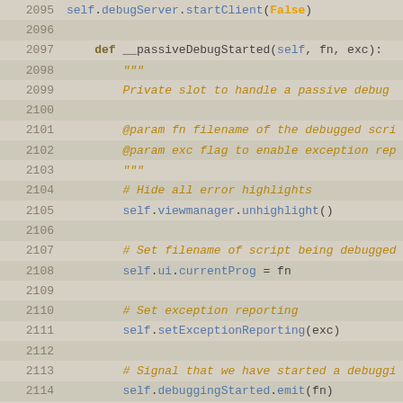[Figure (screenshot): Source code editor showing Python code lines 2095-2121, with alternating row highlights, line numbers on the left, and syntax highlighting in blue, orange/gold, and dark colors on a beige/gray background.]